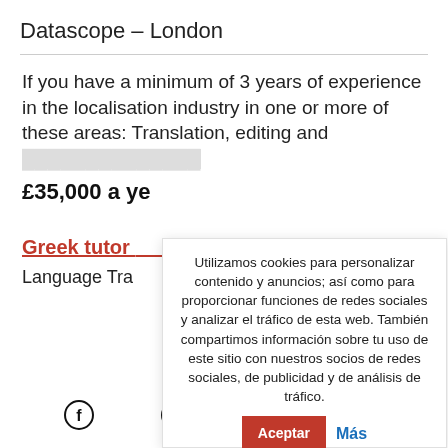Datascope – London
If you have a minimum of 3 years of experience in the localisation industry in one or more of these areas: Translation, editing and [text truncated]
£35,000 a year [truncated]
Greek tutor [truncated link]
Language Tr[truncated]
Utilizamos cookies para personalizar contenido y anuncios; así como para proporcionar funciones de redes sociales y analizar el tráfico de esta web. También compartimos información sobre tu uso de este sitio con nuestros socios de redes sociales, de publicidad y de análisis de tráfico. Aceptar Más